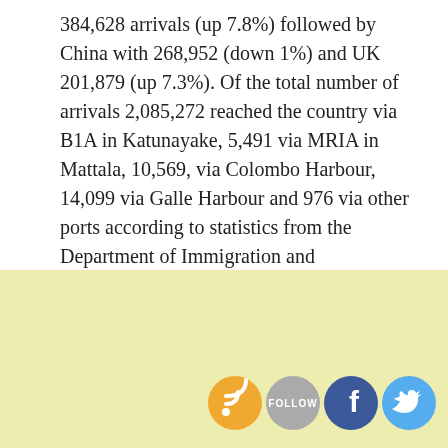384,628 arrivals (up 7.8%) followed by China with 268,952 (down 1%) and UK 201,879 (up 7.3%). Of the total number of arrivals 2,085,272 reached the country via B1A in Katunayake, 5,491 via MRIA in Mattala, 10,569, via Colombo Harbour, 14,099 via Galle Harbour and 976 via other ports according to statistics from the Department of Immigration and Emigrations.
[Figure (infographic): Social media icons row: RSS feed (orange circle), Follow button (gray circle with text FOLLOW), Facebook (dark blue circle with F logo), Twitter (light blue circle with bird logo)]